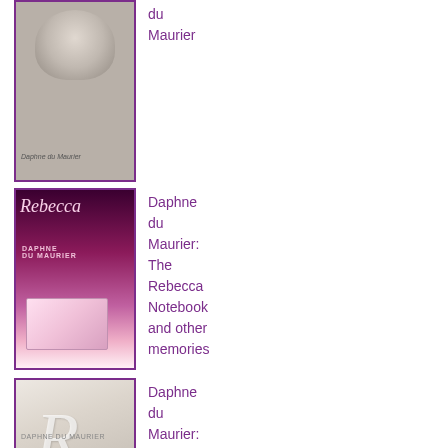[Figure (photo): Book cover - black and white photo of Daphne du Maurier, portrait style]
du Maurier
[Figure (photo): Book cover - Rebecca by Daphne du Maurier, dark pink/purple tones with notebook image]
Daphne du Maurier: The Rebecca Notebook and other memories
[Figure (photo): Book cover - white embossed R design, Rebecca by Daphne du Maurier]
Daphne du Maurier: Rebecca